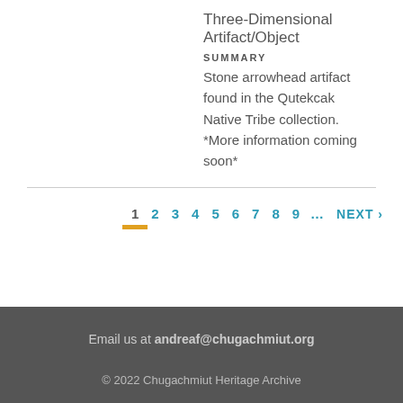Three-Dimensional Artifact/Object
SUMMARY
Stone arrowhead artifact found in the Qutekcak Native Tribe collection. *More information coming soon*
1 2 3 4 5 6 7 8 9 … NEXT ›
Email us at andreaf@chugachmiut.org
© 2022 Chugachmiut Heritage Archive